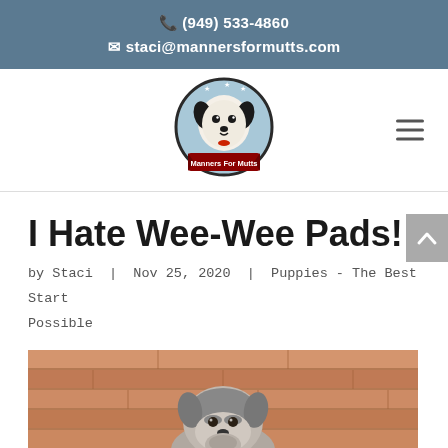☎ (949) 533-4860 ✉ staci@mannersformutts.com
[Figure (logo): Manners For Mutts circular logo with cartoon dog illustration and red banner]
I Hate Wee-Wee Pads!
by Staci | Nov 25, 2020 | Puppies - The Best Start Possible
[Figure (photo): Photo of a puppy (appears to be a schnauzer or similar breed) sitting on a hardwood floor, looking at the camera]